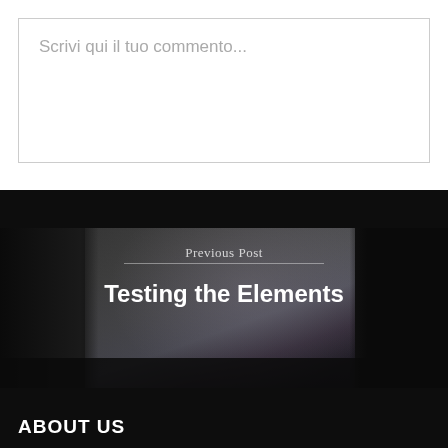Scrivi qui il tuo commento...
[Figure (photo): Dark blurred photo of a train interior with passengers visible through windows, used as background for navigation element]
Previous Post
Testing the Elements
ABOUT US